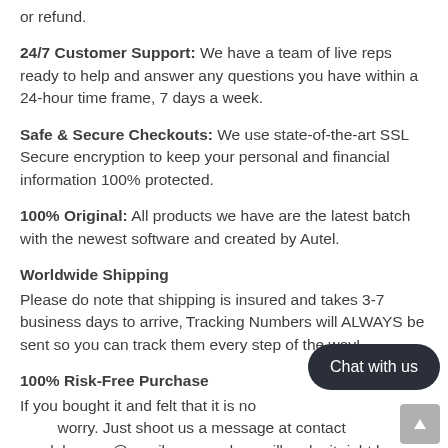or refund.
24/7 Customer Support: We have a team of live reps ready to help and answer any questions you have within a 24-hour time frame, 7 days a week.
Safe & Secure Checkouts: We use state-of-the-art SSL Secure encryption to keep your personal and financial information 100% protected.
100% Original: All products we have are the latest batch with the newest software and created by Autel.
Worldwide Shipping
Please do note that shipping is insured and takes 3-7 business days to arrive, Tracking Numbers will ALWAYS be sent so you can track them every step of the way!
100% Risk-Free Purchase
If you bought it and felt that it is no worry. Just shoot us a message at contact autelobdscan@gmail.com, and we will make it right by